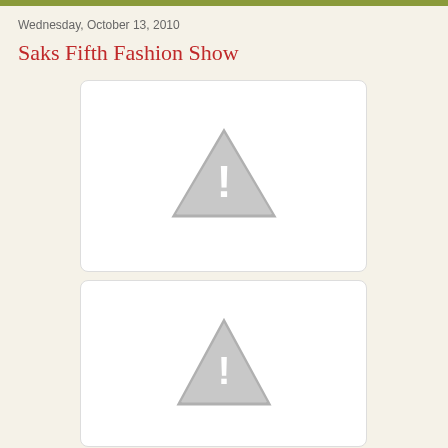Wednesday, October 13, 2010
Saks Fifth Fashion Show
[Figure (photo): Image placeholder with warning triangle icon - image unavailable]
[Figure (photo): Image placeholder with warning triangle icon - image unavailable]